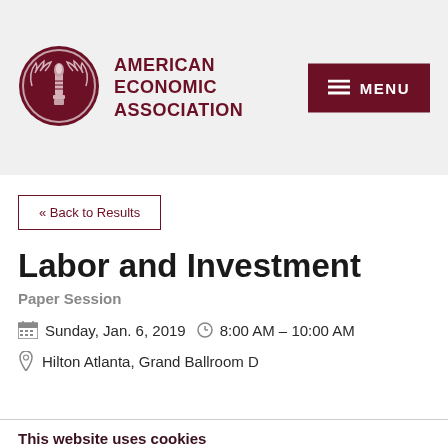[Figure (logo): American Economic Association circular logo with torch and wreath in dark red/maroon]
AMERICAN ECONOMIC ASSOCIATION
« Back to Results
Labor and Investment
Paper Session
Sunday, Jan. 6, 2019  8:00 AM – 10:00 AM
Hilton Atlanta, Grand Ballroom D
This website uses cookies